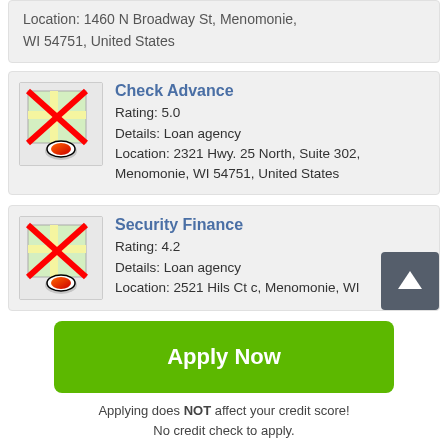Location: 1460 N Broadway St, Menomonie, WI 54751, United States
Check Advance
Rating: 5.0
Details: Loan agency
Location: 2321 Hwy. 25 North, Suite 302, Menomonie, WI 54751, United States
Security Finance
Rating: 4.2
Details: Loan agency
Location: 2521 Hils Ct c, Menomonie, WI
Apply Now
Applying does NOT affect your credit score!
No credit check to apply.